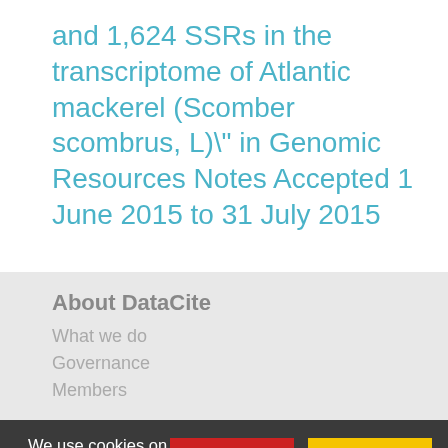and 1,624 SSRs in the transcriptome of Atlantic mackerel (Scomber scombrus, L)\" in Genomic Resources Notes Accepted 1 June 2015 to 31 July 2015
About DataCite
What we do
Governance
Members
We use cookies on our website. Some are technically necessary, others help us improve.